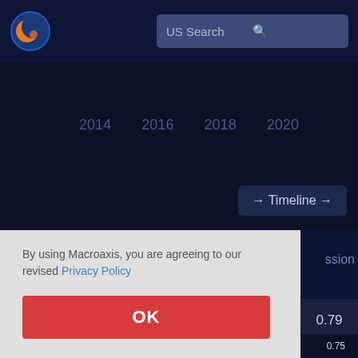[Figure (screenshot): Macroaxis website header with logo (orange and blue globe) on left, and 'US Search' search bar on right against dark navy background]
[Figure (continuous-plot): Dark background timeline chart area showing year labels 2014, 2016, 2018, 2020 along x-axis with a '→ Timeline →' button in bottom right]
By using Macroaxis, you are agreeing to our revised Privacy Policy
OK
ssion
0.79
Geometric Mean
0.75